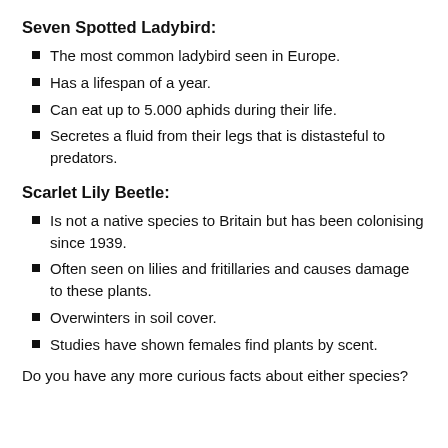Seven Spotted Ladybird:
The most common ladybird seen in Europe.
Has a lifespan of a year.
Can eat up to 5.000 aphids during their life.
Secretes a fluid from their legs that is distasteful to predators.
Scarlet Lily Beetle:
Is not a native species to Britain but has been colonising since 1939.
Often seen on lilies and fritillaries and causes damage to these plants.
Overwinters in soil cover.
Studies have shown females find plants by scent.
Do you have any more curious facts about either species?